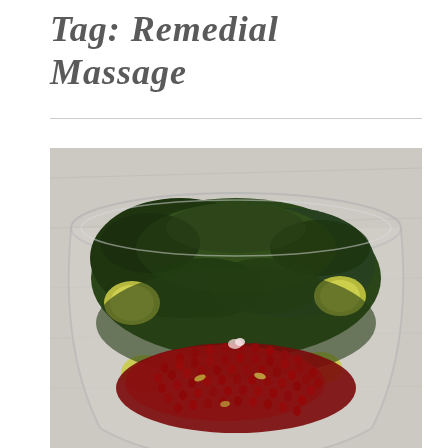Tag: Remedial Massage
[Figure (photo): A glass bowl filled with a kale salad topped with pomegranate seeds and apple chunks, photographed from above on a light wooden surface.]